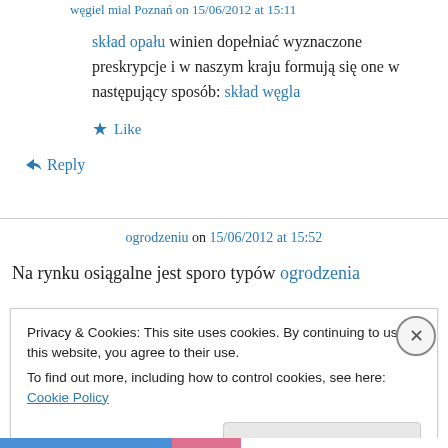węgiel mial Poznań on 15/06/2012 at 15:11
skład opału winien dopełniać wyznaczone preskrypcje i w naszym kraju formują się one w następujący sposób: skład węgla
★ Like
↪ Reply
ogrodzeniu on 15/06/2012 at 15:52
Na rynku osiągalne jest sporo typów ogrodzenia
Privacy & Cookies: This site uses cookies. By continuing to use this website, you agree to their use.
To find out more, including how to control cookies, see here: Cookie Policy
Close and accept